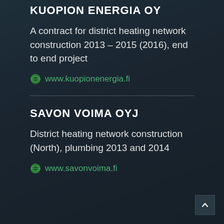KUOPION ENERGIA OY
A contract for district heating network construction 2013 – 2015 (2016), end to end project
www.kuopionenergia.fi
SAVON VOIMA OYJ
District heating network construction (North), plumbing 2013 and 2014
www.savonvoima.fi